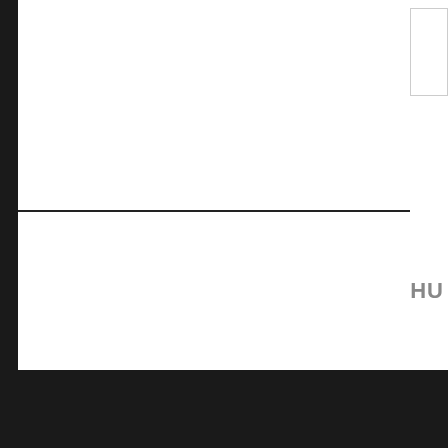HU
[Figure (other): Dark textured footer background at bottom of page]